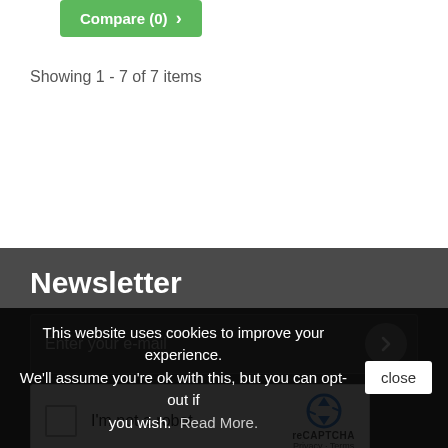[Figure (screenshot): Green Compare (0) button with arrow]
Showing 1 - 7 of 7 items
Newsletter
[Figure (screenshot): Email input box with placeholder 'Enter your e-mail' and grey circular submit arrow button]
[Figure (screenshot): reCAPTCHA widget with checkbox and 'I'm not a robot' text]
[Figure (logo): Facebook icon in grey]
Information
This website uses cookies to improve your experience. We'll assume you're ok with this, but you can opt-out if you wish.  Read More.